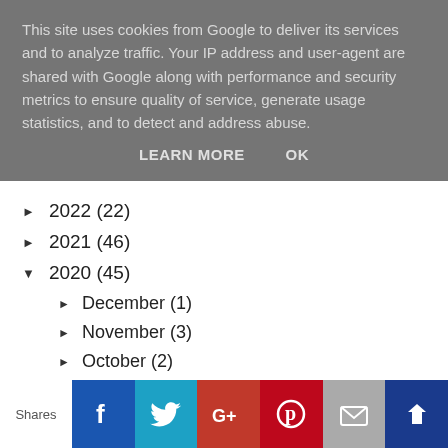This site uses cookies from Google to deliver its services and to analyze traffic. Your IP address and user-agent are shared with Google along with performance and security metrics to ensure quality of service, generate usage statistics, and to detect and address abuse.
LEARN MORE    OK
► 2022 (22)
► 2021 (46)
▼ 2020 (45)
► December (1)
► November (3)
► October (2)
► September (2)
Shares